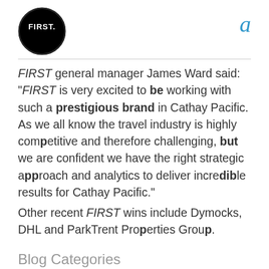[Figure (logo): FIRST. company logo — white text on black circle with outer ring]
a
FIRST general manager James Ward said: "FIRST is very excited to be working with such a prestigious brand in Cathay Pacific. As we all know the travel industry is highly competitive and therefore challenging, but we are confident we have the right strategic approach and analytics to deliver incredible results for Cathay Pacific."
Other recent FIRST wins include Dymocks, DHL and ParkTrent Properties Group.
Blog Categories